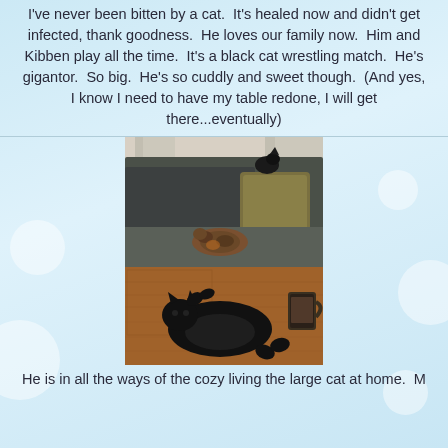I've never been bitten by a cat.  It's healed now and didn't get infected, thank goodness.  He loves our family now.  Him and Kibben play all the time.  It's a black cat wrestling match.  He's gigantor.  So big.  He's so cuddly and sweet though.  (And yes, I know I need to have my table redone, I will get there...eventually)
[Figure (photo): Two cats on a grey couch with pillows, and a large black cat lying on its back on a wooden coffee table, with a mug visible.]
He is in all the ways of the cozy living the large cat at home. M...